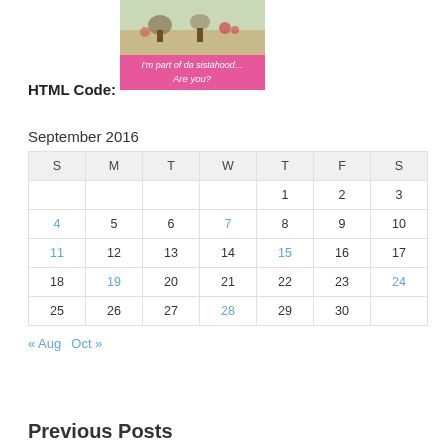[Figure (illustration): Badge image with fantasy illustration on top and pink banner reading "I'm part of da sistahood... Are you?"]
HTML Code:
September 2016
| S | M | T | W | T | F | S |
| --- | --- | --- | --- | --- | --- | --- |
|  |  |  |  | 1 | 2 | 3 |
| 4 | 5 | 6 | 7 | 8 | 9 | 10 |
| 11 | 12 | 13 | 14 | 15 | 16 | 17 |
| 18 | 19 | 20 | 21 | 22 | 23 | 24 |
| 25 | 26 | 27 | 28 | 29 | 30 |  |
« Aug   Oct »
Previous Posts